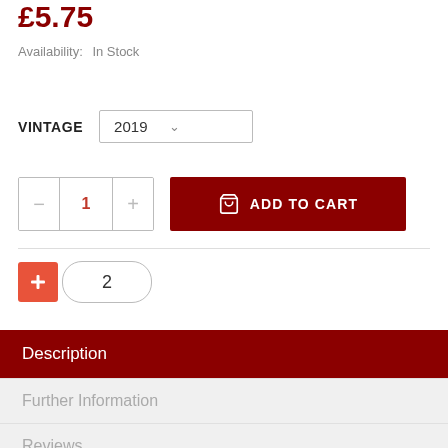£5.75
Availability:  In Stock
VINTAGE  2019
ADD TO CART
+ 2
Description
Further Information
Reviews
Deli...